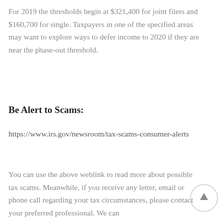For 2019 the thresholds begin at $321,400 for joint filers and $160,700 for single. Taxpayers in one of the specified areas may want to explore ways to defer income to 2020 if they are near the phase-out threshold.
Be Alert to Scams:
https://www.irs.gov/newsroom/tax-scams-consumer-alerts
You can use the above weblink to read more about possible tax scams. Meanwhile, if you receive any letter, email or phone call regarding your tax circumstances, please contact your preferred professional. We can